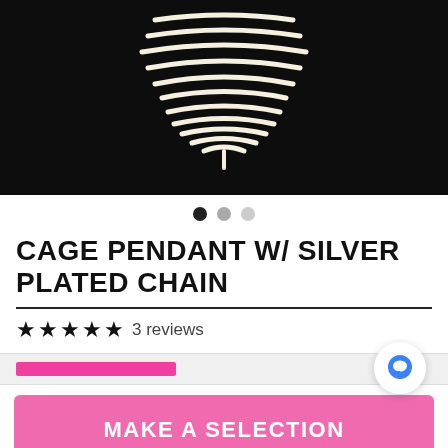[Figure (photo): Product photo of cage pendant with silver plated chain against dark/black background, showing spiral wire coil shape in white/ivory color]
CAGE PENDANT W/ SILVER PLATED CHAIN
★★★★★ 3 reviews
MAKE A SELECTION